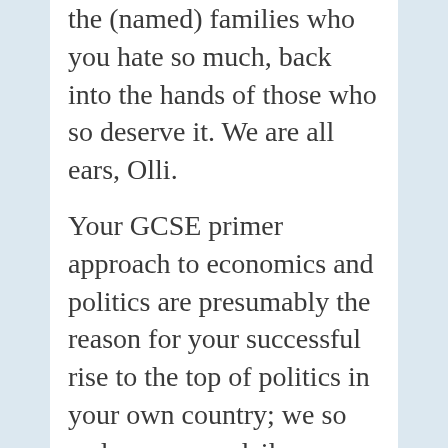the (named) families who you hate so much, back into the hands of those who so deserve it. We are all ears, Olli.
Your GCSE primer approach to economics and politics are presumably the reason for your successful rise to the top of politics in your own country; we so welcome your daily “politics by menu” approach to matters over here.